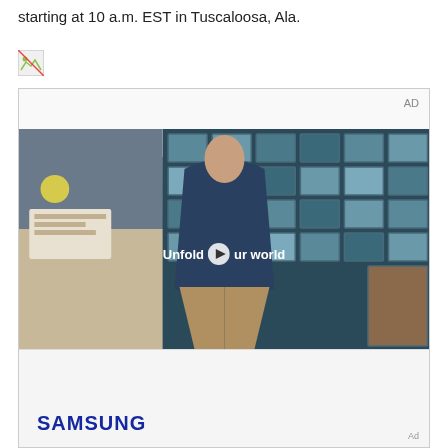starting at 10 a.m. EST in Tuscaloosa, Ala.
[Figure (other): Broken/missing image icon (small placeholder image)]
[Figure (other): Advertisement video unit showing a young man in a denim jacket walking in a cafeteria-style setting with tiled windows background. Text overlay reads 'Unfold your world' with a play button. Bottom panel shows Samsung logo. Labeled as AD.]